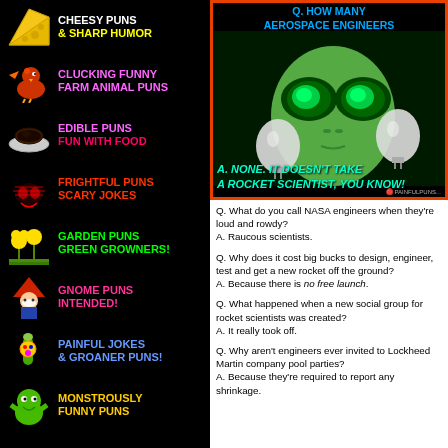[Figure (infographic): Left panel: black background menu of pun categories with images and colored text labels]
[Figure (infographic): Right top: alien holding lightbulbs with aerospace engineer joke text - Q: How many aerospace engineers does it take to change a light bulb? A: None. It doesn't take a rocket scientist, you know!]
Q. What do you call NASA engineers when they're loud and rowdy?
A. Raucous scientists.
Q. Why does it cost big bucks to design, engineer, test and get a new rocket off the ground?
A. Because there is no free launch.
Q. What happened when a new social group for rocket scientists was created?
A. It really took off.
Q. Why aren't engineers ever invited to Lockheed Martin company pool parties?
A. Because they're required to report any shrinkage.